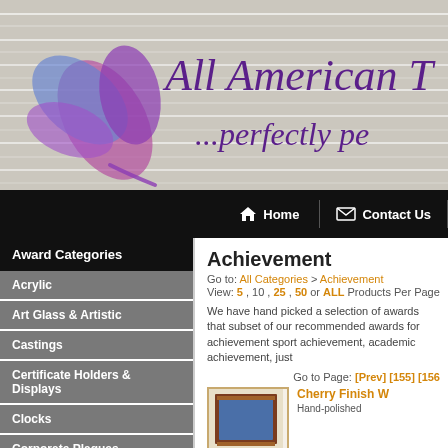[Figure (screenshot): Website banner for All American Trophy showing watercolor flower logo and cursive purple script text on wood-grain background]
Home | Contact Us
Award Categories
Acrylic
Art Glass & Artistic
Castings
Certificate Holders & Displays
Clocks
Corporate Plaques
Achievement
Go to: All Categories > Achievement
View: 5 , 10 , 25 , 50 or ALL Products Per Page
We have hand picked a selection of awards that subset of our recommended awards for achievement sport achievement, academic achievement, just
Go to Page: [Prev] [155] [156
Cherry Finish W